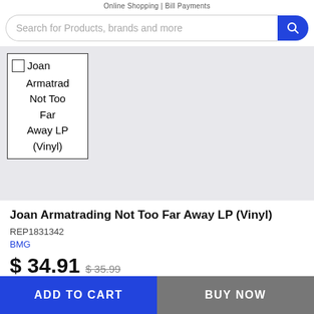Online Shopping | Bill Payments
Search for Products, brands and more
[Figure (screenshot): Product thumbnail card with checkbox showing: Joan Armatrading Not Too Far Away LP (Vinyl)]
Joan Armatrading Not Too Far Away LP (Vinyl)
REP1831342
BMG
$ 34.91   $ 35.99
ADD TO CART
BUY NOW